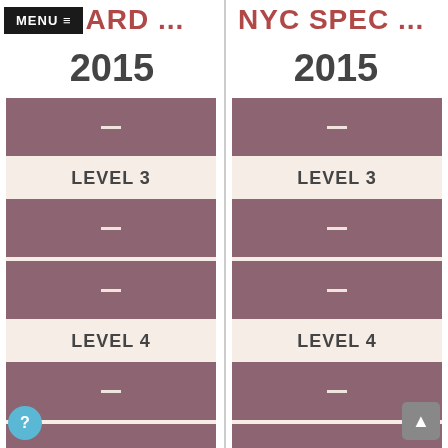MENU ≡  ARD ... | NYC SPEC ...
2015
2015
[Figure (infographic): Left column accordion showing LEVEL 3 and LEVEL 4 sections with collapsed mauve/dusty-rose rows and dash icons, on a cream background]
[Figure (infographic): Right column accordion showing LEVEL 3 and LEVEL 4 sections with collapsed mauve/dusty-rose rows and dash icons, on a cream background]